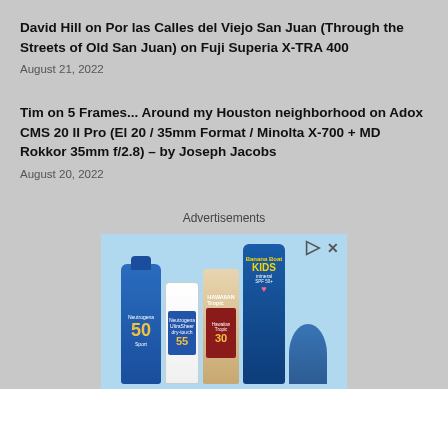David Hill on Por las Calles del Viejo San Juan (Through the Streets of Old San Juan) on Fuji Superia X-TRA 400
August 21, 2022
Tim on 5 Frames... Around my Houston neighborhood on Adox CMS 20 II Pro (El 20 / 35mm Format / Minolta X-700 + MD Rokkor 35mm f/2.8) – by Joseph Jacobs
August 20, 2022
Advertisements
[Figure (photo): Advertisement showing sunscreen products: Neutrogena SPF 50, Neutrogena UltraSheer SPF 55, Hawaiian Tropic SPF 30, Banana Boat Kids Mineral sunscreen bottles on a light blue background]
[Figure (photo): Bottom banner advertisement for Top Junior Gold Mining Stock showing gold bars image, text, and navigation button. URL: www.rivres.com]